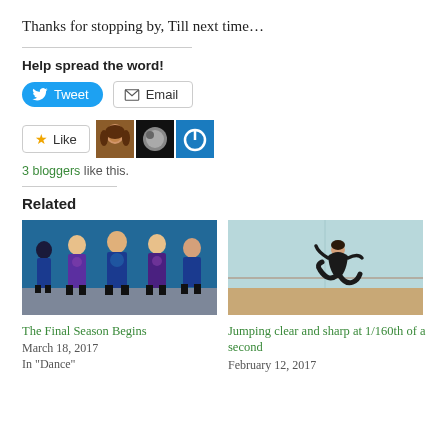Thanks for stopping by, Till next time…
Help spread the word!
[Figure (other): Tweet and Email share buttons]
[Figure (other): Like button with 3 blogger avatars and '3 bloggers like this.' text]
Related
[Figure (photo): Group of dancers in blue/purple tie-dye outfits in a dance studio]
The Final Season Begins
March 18, 2017
In "Dance"
[Figure (photo): Dancer jumping high in a dance studio with teal walls]
Jumping clear and sharp at 1/160th of a second
February 12, 2017